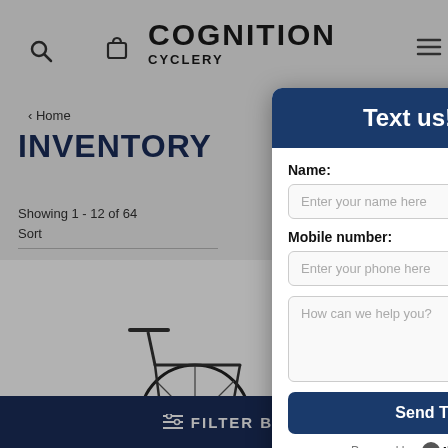[Figure (screenshot): Background of a bicycle shop website showing the Cognition Cyclery logo, navigation icons, breadcrumb 'Home', page title 'INVENTORY', showing text '1-12 of 64', Sort label, and a partial image of a bicycle with a rack. A dark blue bottom bar with 'FILTER BY' text is visible.]
Text us!
Name:
Enter your name here
Mobile number:
Enter your phone here
How can we help you?
Send Text
Powered by Ikeono